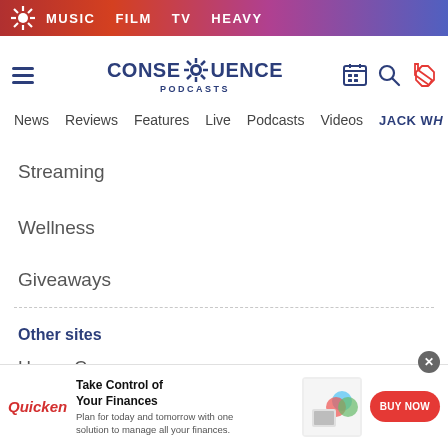MUSIC  FILM  TV  HEAVY
[Figure (logo): Consequence Podcasts logo with gear icon and hamburger menu]
News  Reviews  Features  Live  Podcasts  Videos  JACK WH
Streaming
Wellness
Giveaways
Other sites
Heavy Consequence
Consequence Media
[Figure (screenshot): Quicken advertisement: Take Control of Your Finances. Plan for today and tomorrow with one solution to manage all your finances. BUY NOW button.]